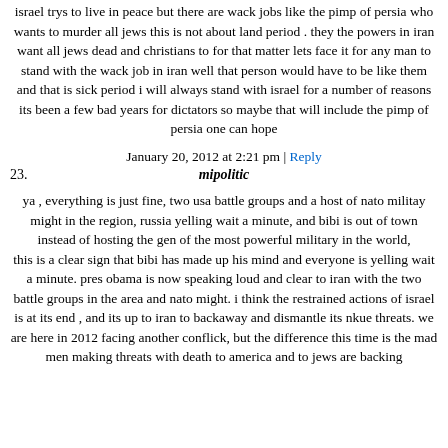israel trys to live in peace but there are wack jobs like the pimp of persia who wants to murder all jews this is not about land period . they the powers in iran want all jews dead and christians to for that matter lets face it for any man to stand with the wack job in iran well that person would have to be like them and that is sick period i will always stand with israel for a number of reasons its been a few bad years for dictators so maybe that will include the pimp of persia one can hope
January 20, 2012 at 2:21 pm | Reply
23. mipolitic
ya , everything is just fine, two usa battle groups and a host of nato militay might in the region, russia yelling wait a minute, and bibi is out of town instead of hosting the gen of the most powerful military in the world, this is a clear sign that bibi has made up his mind and everyone is yelling wait a minute. pres obama is now speaking loud and clear to iran with the two battle groups in the area and nato might. i think the restrained actions of israel is at its end , and its up to iran to backaway and dismantle its nkue threats. we are here in 2012 facing another conflick, but the difference this time is the mad men making threats with death to america and to jews are backing